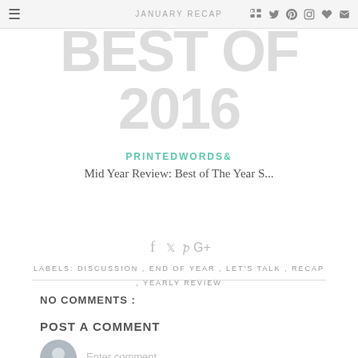JANUARY RECAP
BEST OF 2016
PRINTEDWORDS&
Mid Year Review: Best of The Year S...
LABELS: DISCUSSION , END OF YEAR , LET'S TALK , RECAP , YEARLY REVIEW
NO COMMENTS :
POST A COMMENT
Enter comment